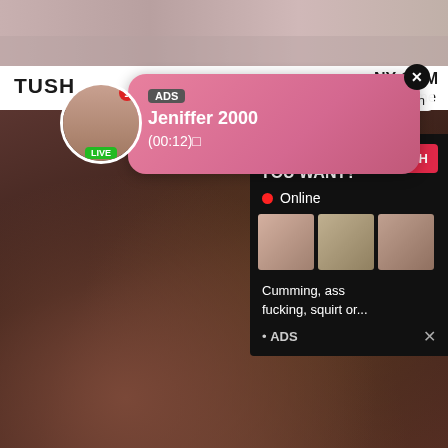[Figure (screenshot): Adult website screenshot showing video content with overlay advertisements. Top strip shows blurred video content. Below is a site header with 'TUSH' and 'NY.COM' / 'esome'. A pink notification popup shows 'ADS Jeniffer 2000 (00:12)' with a LIVE badge avatar. A '12 min' badge appears top right. Main video area shows adult content with TUSHY RAW watermark. An ad overlay panel on right shows 'WHAT DO YOU WANT?' with WATCH button, Online indicator, thumbnail images, and text 'Cumming, ass fucking, squirt or... • ADS'.]
TUSHYRAW Gabbie Carter in her most intense anal scene ev...
Are you 18+?